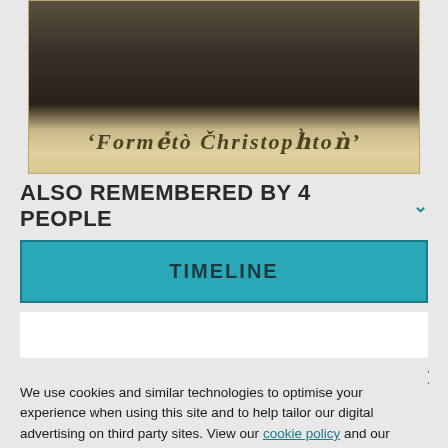[Figure (photo): Old sepia photograph showing people in dark clothing with decorative gothic/ornate text at the bottom reading something like 'Orme to Christos' or similar stylized text on aged card mount]
ALSO REMEMBERED BY 4 PEOPLE
TIMELINE
We use cookies and similar technologies to optimise your experience when using this site and to help tailor our digital advertising on third party sites. View our cookie policy and our Privacy policies.